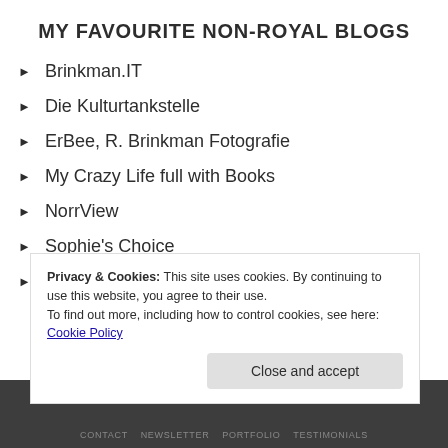MY FAVOURITE NON-ROYAL BLOGS
Brinkman.IT
Die Kulturtankstelle
ErBee, R. Brinkman Fotografie
My Crazy Life full with Books
NorrView
Sophie's Choice
Zuidlaren in Bricks
Privacy & Cookies: This site uses cookies. By continuing to use this website, you agree to their use.
To find out more, including how to control cookies, see here:
Cookie Policy
CONTACT   NEWSLETTER   PORTFOLIO   TESTIMONIALS